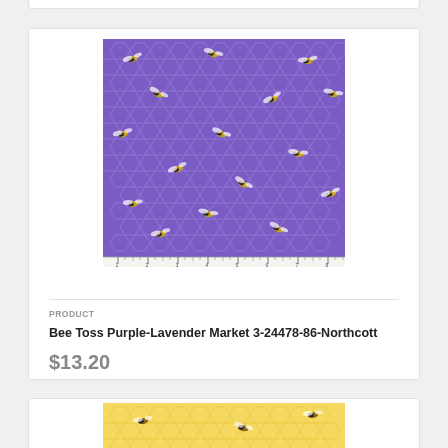[Figure (photo): Fabric swatch of purple/lavender honeycomb pattern with scattered bees (Bee Toss Purple-Lavender Market fabric), shown with a ruler at the bottom]
PRODUCT
Bee Toss Purple-Lavender Market 3-24478-86-Northcott
$13.20
[Figure (photo): Fabric swatch of yellow honeycomb pattern with scattered bees (partial, bottom of page)]